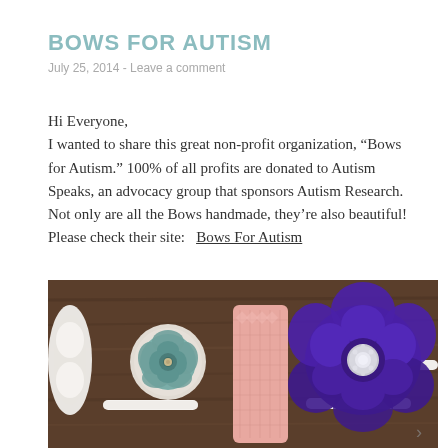BOWS FOR AUTISM
July 25, 2014 - Leave a comment
Hi Everyone,
I wanted to share this great non-profit organization, “Bows for Autism.” 100% of all profits are donated to Autism Speaks, an advocacy group that sponsors Autism Research. Not only are all the Bows handmade, they’re also beautiful! Please check their site:   Bows For Autism
[Figure (photo): Photograph of decorative handmade hair bows and headbands laid on a dark wood surface: a white ruffled piece on the far left, a teal/green fabric rose on a white lace headband in the center-left, a pink crochet headband in the middle, a large purple satin flower with rhinestone center on a white headband on the right, and a white elastic headband on the far right.]